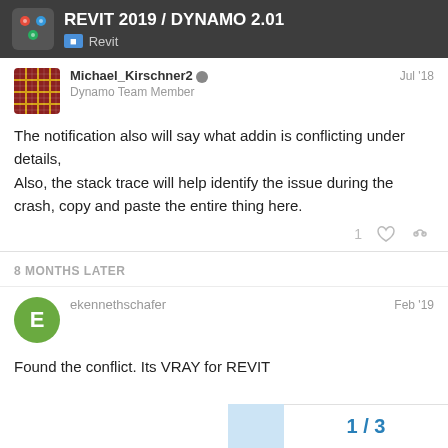REVIT 2019 / DYNAMO 2.01 — Revit
Michael_Kirschner2  Dynamo Team Member  Jul '18
The notification also will say what addin is conflicting under details,
Also, the stack trace will help identify the issue during the crash, copy and paste the entire thing here.
8 MONTHS LATER
ekennethschafer  Feb '19
Found the conflict. Its VRAY for REVIT
1 / 3